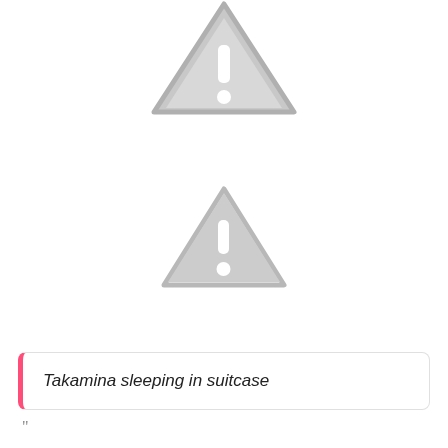[Figure (illustration): Warning triangle icon (large, gray, partially cropped at top) with exclamation mark]
[Figure (illustration): Warning triangle icon (medium, gray) with exclamation mark]
Takamina sleeping in suitcase